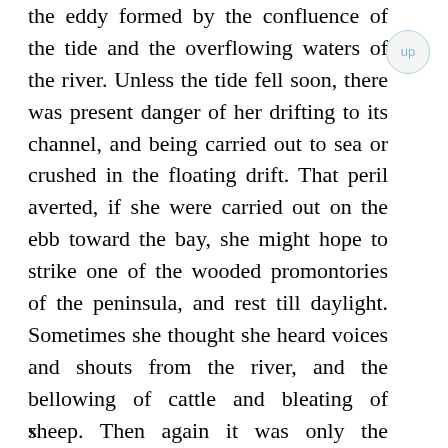the eddy formed by the confluence of the tide and the overflowing waters of the river. Unless the tide fell soon, there was present danger of her drifting to its channel, and being carried out to sea or crushed in the floating drift. That peril averted, if she were carried out on the ebb toward the bay, she might hope to strike one of the wooded promontories of the peninsula, and rest till daylight. Sometimes she thought she heard voices and shouts from the river, and the bellowing of cattle and bleating of sheep. Then again it was only the ringing in her ears and throbbing of her heart. She found at about this time that she was so chilled and stiffened in her
x